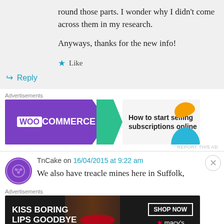round those parts. I wonder why I didn't come across them in my research.

Anyways, thanks for the new info!
★ Like
↪ Reply
Advertisements
[Figure (other): WooCommerce banner ad: 'How to start selling subscriptions online']
REPORT THIS AD
TnCake on 16/04/2015 at 9:22 am
We also have treacle mines here in Suffolk,
Advertisements
[Figure (other): Macy's banner ad: 'KISS BORING LIPS GOODBYE' with SHOP NOW button]
REPORT THIS AD